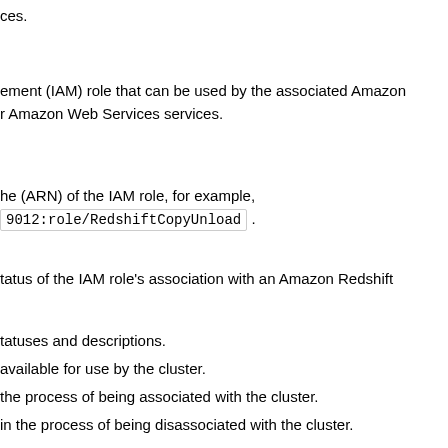ces.
ement (IAM) role that can be used by the associated Amazon r Amazon Web Services services.
he (ARN) of the IAM role, for example, 9012:role/RedshiftCopyUnload .
tatus of the IAM role's association with an Amazon Redshift
tatuses and descriptions.
available for use by the cluster.
the process of being associated with the cluster.
in the process of being disassociated with the cluster.